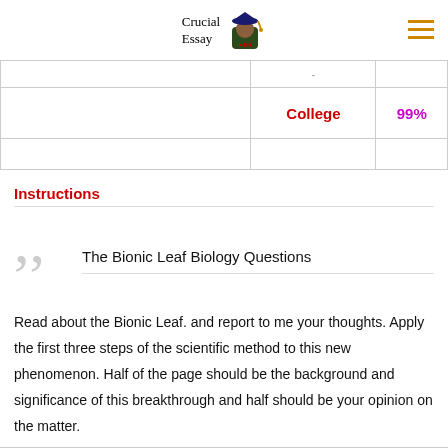Crucial Essay
|  |  |  |
| --- | --- | --- |
|  |  |  |
|  | College | 99% |
|  |  |  |
Instructions
The Bionic Leaf Biology Questions
Read about the Bionic Leaf. and report to me your thoughts. Apply the first three steps of the scientific method to this new phenomenon. Half of the page should be the background and significance of this breakthrough and half should be your opinion on the matter.